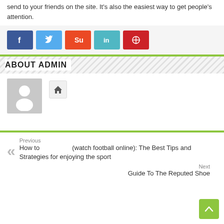send to your friends on the site. It's also the easiest way to get people's attention.
[Figure (other): Social share buttons: Facebook (blue), Twitter (light blue), StumbleUpon (orange-red), LinkedIn (teal), Pinterest (red)]
ABOUT ADMIN
[Figure (other): Default avatar/profile placeholder image — gray square with white silhouette of person (head and shoulders)]
[Figure (other): Home icon button — small gray square button with house icon]
Previous
How to (watch football online): The Best Tips and Strategies for enjoying the sport
Next
Guide To The Reputed Shoe